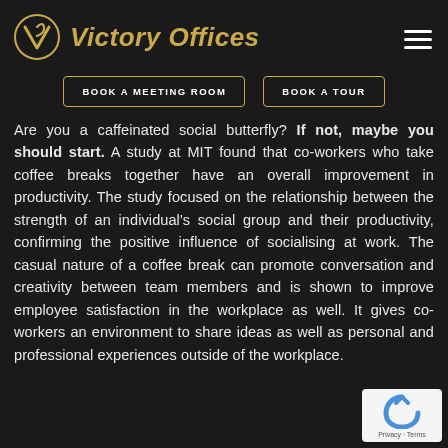[Figure (logo): Victory Offices logo with golden circle containing a V symbol and italic text 'Victory Offices' in gold]
BOOK A MEETING ROOM
BOOK A TOUR
Are you a caffeinated social butterfly? If not, maybe you should start. A study at MIT found that co-workers who take coffee breaks together have an overall improvement in productivity. The study focused on the relationship between the strength of an individual's social group and their productivity, confirming the positive influence of socialising at work. The casual nature of a coffee break can promote conversation and creativity between team members and is shown to improve employee satisfaction in the workplace as well. It gives co-workers an environment to share ideas as well as personal and professional experiences outside of the workplace.